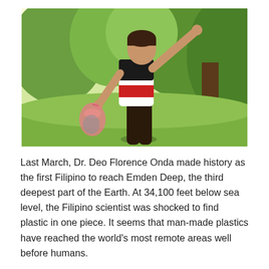[Figure (photo): A person seen from behind, wearing a black, white, and red striped t-shirt and dark pants, holding a pink plastic bag with their arm raised, standing in a sunlit park with green trees in the background.]
Last March, Dr. Deo Florence Onda made history as the first Filipino to reach Emden Deep, the third deepest part of the Earth. At 34,100 feet below sea level, the Filipino scientist was shocked to find plastic in one piece. It seems that man-made plastics have reached the world's most remote areas well before humans.